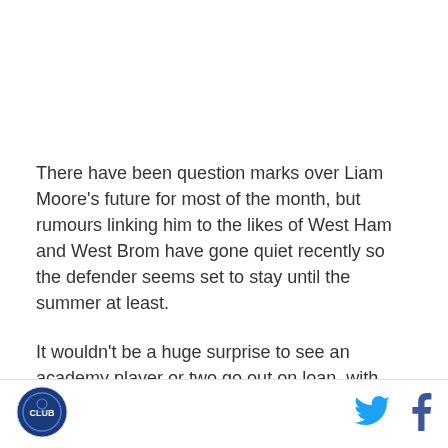There have been question marks over Liam Moore's future for most of the month, but rumours linking him to the likes of West Ham and West Brom have gone quiet recently so the defender seems set to stay until the summer at least.
It wouldn't be a huge surprise to see an academy player or two go out on loan, with youngsters such as Tennai Watson, Axel Andresson and Sam Smith
[Figure (logo): Club crest logo in circular badge form]
[Figure (illustration): Twitter bird icon in blue]
[Figure (illustration): Facebook 'f' icon in dark blue]